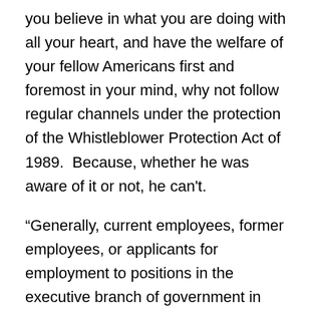you believe in what you are doing with all your heart, and have the welfare of your fellow Americans first and foremost in your mind, why not follow regular channels under the protection of the Whistleblower Protection Act of 1989.  Because, whether he was aware of it or not, he can't.
“Generally, current employees, former employees, or applicants for employment to positions in the executive branch of government in both the competitive and the excepted service, as well as positions in the Senior Executive Service, are considered covered employees. However, those positions that are excepted from the competitive service because of their ‘confidential, policy-determining, policy-making, or policy-advocating character,’ and any positions exempted by the President